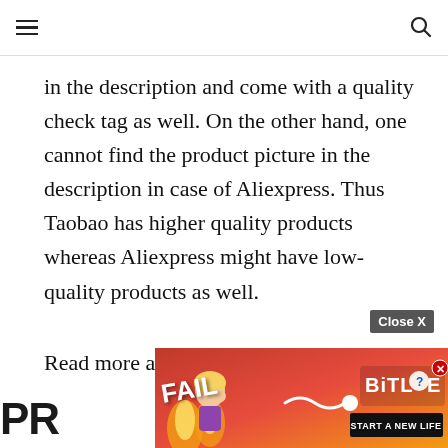≡  [search icon]
in the description and come with a quality check tag as well. On the other hand, one cannot find the product picture in the description in case of Aliexpress. Thus Taobao has higher quality products whereas Aliexpress might have low-quality products as well.
Read more about Aliexpress vs DHgate
[Figure (screenshot): Advertisement banner for BitLife game with red/fire background, 'FAIL' text, anime-style girl character, flame graphics, BitLife logo with question mark icon, and 'START A NEW LIFE' button. Close X button visible above.]
PRO